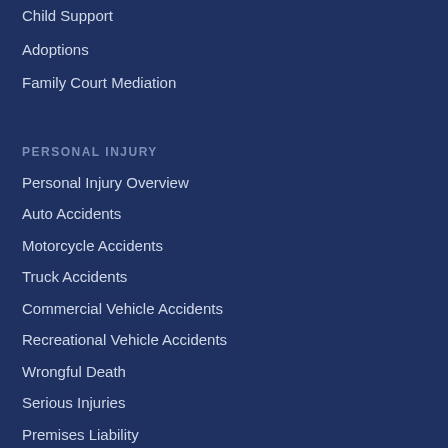Child Support
Adoptions
Family Court Mediation
PERSONAL INJURY
Personal Injury Overview
Auto Accidents
Motorcycle Accidents
Truck Accidents
Commercial Vehicle Accidents
Recreational Vehicle Accidents
Wrongful Death
Serious Injuries
Premises Liability
Workers' Compensation